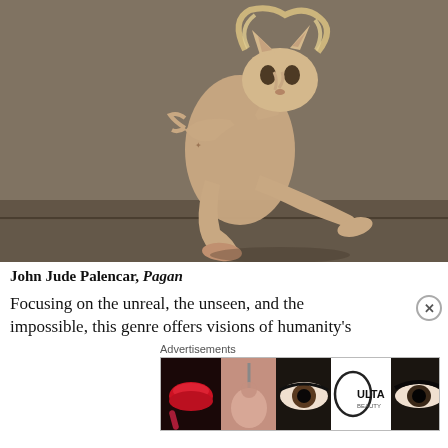[Figure (photo): Surrealist artwork showing a nude human figure crouching/leaping with the head of a cat or animal, set against a muted gray-brown background. The figure's body is twisted in a dynamic pose.]
John Jude Palencar, Pagan
Focusing on the unreal, the unseen, and the impossible, this genre offers visions of humanity's
Advertisements
[Figure (photo): Advertisement banner for ULTA Beauty showing close-up images of lips with red lipstick, a makeup brush, an eye with makeup, the ULTA Beauty logo, styled eyes with dark makeup, and text reading SHOP NOW.]